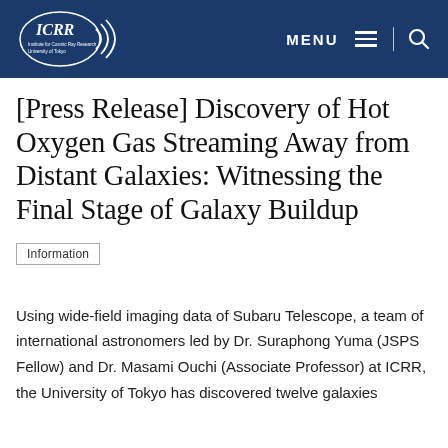ICRR — Institute for Cosmic Ray Research, University of Tokyo | MENU | Search
[Press Release] Discovery of Hot Oxygen Gas Streaming Away from Distant Galaxies: Witnessing the Final Stage of Galaxy Buildup
Information
Using wide-field imaging data of Subaru Telescope, a team of international astronomers led by Dr. Suraphong Yuma (JSPS Fellow) and Dr. Masami Ouchi (Associate Professor) at ICRR, the University of Tokyo has discovered twelve galaxies